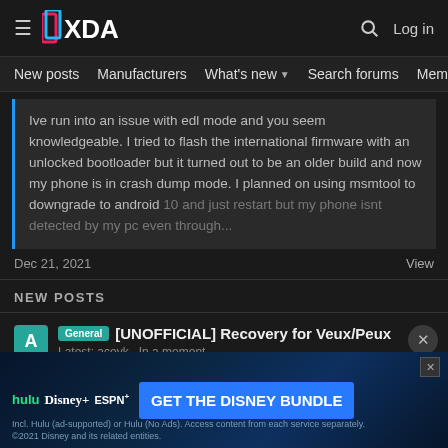[Figure (screenshot): XDA Developers forum website header with logo, hamburger menu, search icon, and Log in button]
New posts  Manufacturers  What's new  Search forums  Membe  >
Ive run into an issue with edl mode and you seem knowledgeable. I tried to flash the international firmware with an unlocked bootloader but it turned out to be an older build and now my phone is in crash dump mode. I planned on using msmtool to downgrade to android 10 and just restart but my phone isnt detected by my pc even through...
Dec 21, 2021
View
NEW POSTS
General [UNOFFICIAL] Recovery for Veux/Peux
Latest: aceyk · In a moment
Redmi Note 11 Pro+ 5G (veux)/POCO X4 Pro 5G (peux)
St...
Bo...
Latest: alucybin · a moment ago
[Figure (screenshot): Disney Bundle advertisement banner with Hulu, Disney+, ESPN+ logos and GET THE DISNEY BUNDLE call to action button]